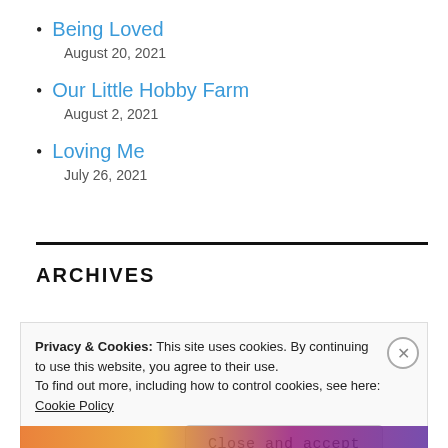Being Loved
August 20, 2021
Our Little Hobby Farm
August 2, 2021
Loving Me
July 26, 2021
ARCHIVES
Privacy & Cookies: This site uses cookies. By continuing to use this website, you agree to their use.
To find out more, including how to control cookies, see here: Cookie Policy
Close and accept